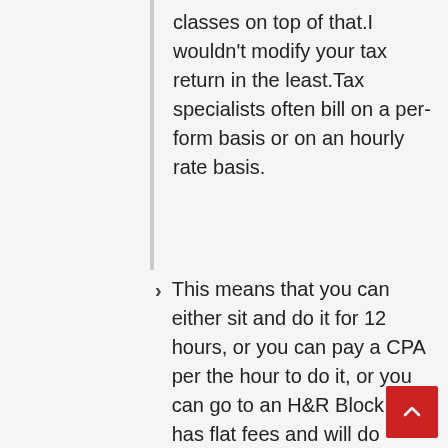classes on top of that.I wouldn't modify your tax return in the least.Tax specialists often bill on a per-form basis or on an hourly rate basis.
This means that you can either sit and do it for 12 hours, or you can pay a CPA per the hour to do it, or you can go to an H&R Block that has flat fees and will do everything but push Send for you for no additional cost.
After all, why would you waste 12 hours doing something improperly and risk being arrested, bankrupted, or deported for the next decade when you can pay $200-$300 to get it done